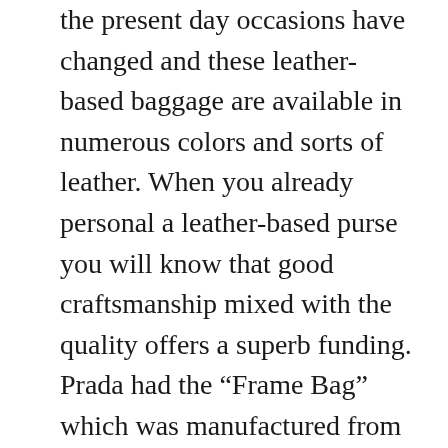the present day occasions have changed and these leather-based baggage are available in numerous colors and sorts of leather. When you already personal a leather-based purse you will know that good craftsmanship mixed with the quality offers a superb funding. Prada had the “Frame Bag” which was manufactured from crocodile leather and retailed for $15090.00, thus this leather may be very expensive. In the vogue industry a dead crocodile is more terrifying dead than alive, due to the truth that if one mistake is made in the course of the tanning process the costly leather-based is worthless. However don’t let the value tag scare you, there are other lovely skins, resembling buffalo, python,lamb and